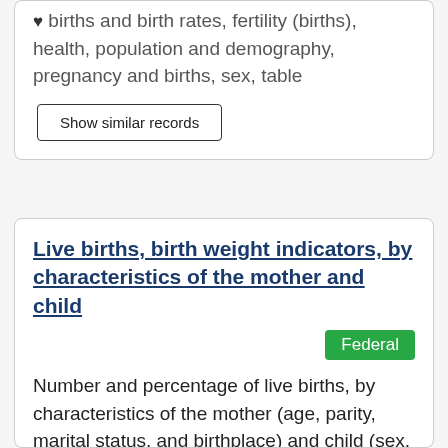births and birth rates, fertility (births), health, population and demography, pregnancy and births, sex, table
Show similar records
Live births, birth weight indicators, by characteristics of the mother and child
Federal
Number and percentage of live births, by characteristics of the mother (age, parity, marital status, and birthplace) and child (sex, single or multiple births